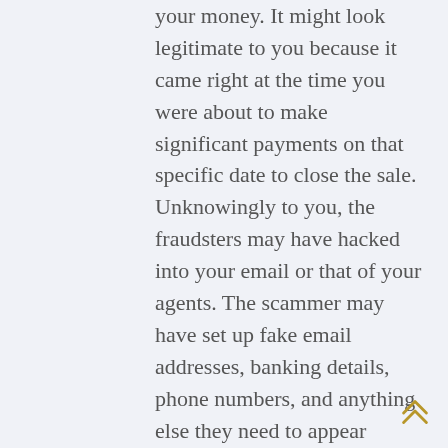your money. It might look legitimate to you because it came right at the time you were about to make significant payments on that specific date to close the sale. Unknowingly to you, the fraudsters may have hacked into your email or that of your agents. The scammer may have set up fake email addresses, banking details, phone numbers, and anything else they need to appear genuine. On your